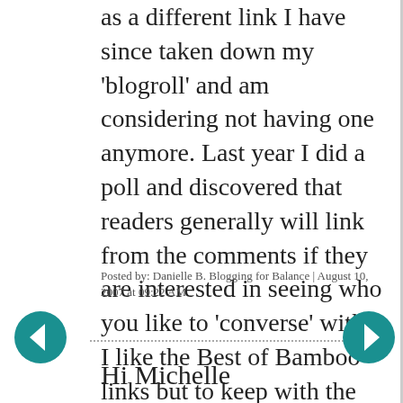as a different link I have since taken down my 'blogroll' and am considering not having one anymore. Last year I did a poll and discovered that readers generally will link from the comments if they are interested in seeing who you like to 'converse' with. I like the Best of Bamboo links but to keep with the 'zen-like' feel of your blog I would put them on a separate page. Just because you asked ;)
Posted by: Danielle B. Blogging for Balance | August 10, 2007 at 09:22 AM
Hi Michelle